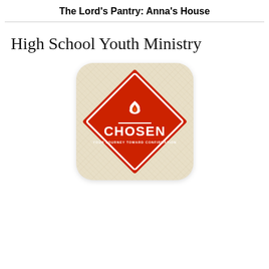The Lord's Pantry: Anna's House
High School Youth Ministry
[Figure (logo): CHOSEN: Your Journey Toward Confirmation logo — a red diamond-shaped hazmat-style sign with a white flame icon above the word CHOSEN in bold white letters, with subtitle 'YOUR JOURNEY TOWARD CONFIRMATION', on a beige/tan textured rounded-rectangle background card.]